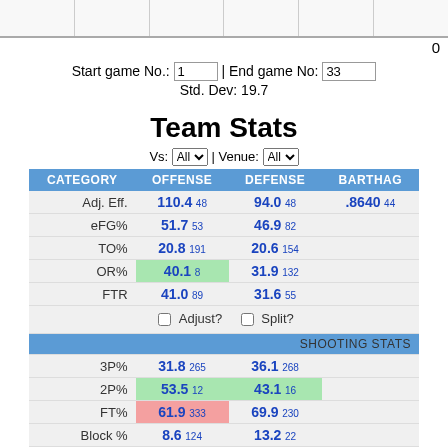0
Start game No.: 1 | End game No: 33
Std. Dev: 19.7
Team Stats
Vs: All | Venue: All
| CATEGORY | OFFENSE | DEFENSE | BARTHAG |
| --- | --- | --- | --- |
| Adj. Eff. | 110.4  48 | 94.0  48 | .8640  44 |
| eFG% | 51.7  53 | 46.9  82 |  |
| TO% | 20.8  191 | 20.6  154 |  |
| OR% | 40.1  8 | 31.9  132 |  |
| FTR | 41.0  89 | 31.6  55 |  |
|  | ☐ Adjust?  ☐ Split? |  |  |
| SHOOTING STATS |  |  |  |
| 3P% | 31.8  265 | 36.1  268 |  |
| 2P% | 53.5  12 | 43.1  16 |  |
| FT% | 61.9  333 | 69.9  230 |  |
| Block % | 8.6  124 | 13.2  22 |  |